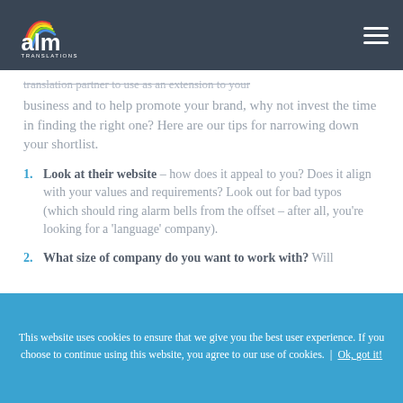ALM Translations
translation partner to use as an extension to your business and to help promote your brand, why not invest the time in finding the right one? Here are our tips for narrowing down your shortlist.
Look at their website – how does it appeal to you? Does it align with your values and requirements? Look out for bad typos (which should ring alarm bells from the offset – after all, you're looking for a 'language' company).
What size of company do you want to work with? Will
This website uses cookies to ensure that we give you the best user experience. If you choose to continue using this website, you agree to our use of cookies. | Ok, got it!